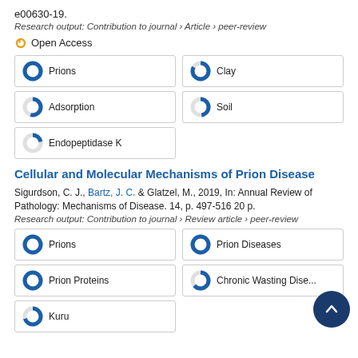e00630-19.
Research output: Contribution to journal › Article › peer-review
Open Access
Prions
Clay
Adsorption
Soil
Endopeptidase K
Cellular and Molecular Mechanisms of Prion Disease
Sigurdson, C. J., Bartz, J. C. & Glatzel, M., 2019, In: Annual Review of Pathology: Mechanisms of Disease. 14, p. 497-516 20 p.
Research output: Contribution to journal › Review article › peer-review
Prions
Prion Diseases
Prion Proteins
Chronic Wasting Dise...
Kuru